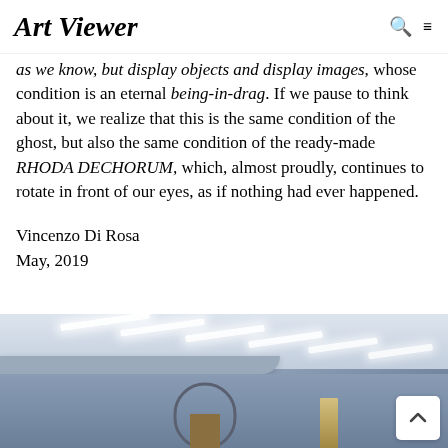Art Viewer
as we know, but display objects and display images, whose condition is an eternal being-in-drag. If we pause to think about it, we realize that this is the same condition of the ghost, but also the same condition of the ready-made RHODA DECHORUM, which, almost proudly, continues to rotate in front of our eyes, as if nothing had ever happened.
Vincenzo Di Rosa
May, 2019
[Figure (photo): Interior view of an art gallery with blue-gray walls and diagonal fluorescent light strips on the ceiling. In the lower portion, a decorative arch structure and sculptural objects are partially visible.]